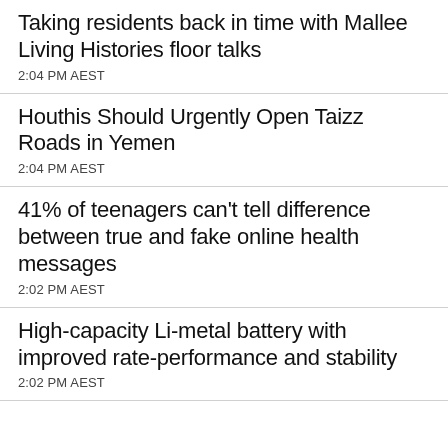Taking residents back in time with Mallee Living Histories floor talks
2:04 PM AEST
Houthis Should Urgently Open Taizz Roads in Yemen
2:04 PM AEST
41% of teenagers can’t tell difference between true and fake online health messages
2:02 PM AEST
High-capacity Li-metal battery with improved rate-performance and stability
2:02 PM AEST
APRA releases response to consultation on Phase 2 of Superannuation Data Transformation project
1:50 PM AEST